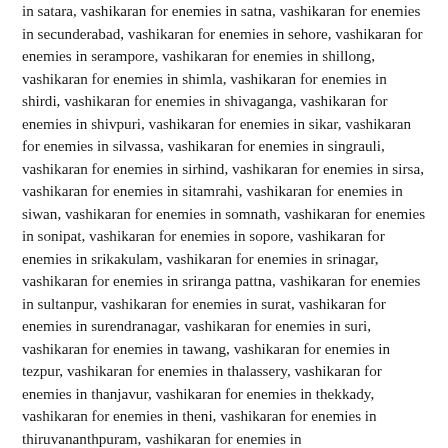in satara, vashikaran for enemies in satna, vashikaran for enemies in secunderabad, vashikaran for enemies in sehore, vashikaran for enemies in serampore, vashikaran for enemies in shillong, vashikaran for enemies in shimla, vashikaran for enemies in shirdi, vashikaran for enemies in shivaganga, vashikaran for enemies in shivpuri, vashikaran for enemies in sikar, vashikaran for enemies in silvassa, vashikaran for enemies in singrauli, vashikaran for enemies in sirhind, vashikaran for enemies in sirsa, vashikaran for enemies in sitamrahi, vashikaran for enemies in siwan, vashikaran for enemies in somnath, vashikaran for enemies in sonipat, vashikaran for enemies in sopore, vashikaran for enemies in srikakulam, vashikaran for enemies in srinagar, vashikaran for enemies in sriranga pattna, vashikaran for enemies in sultanpur, vashikaran for enemies in surat, vashikaran for enemies in surendranagar, vashikaran for enemies in suri, vashikaran for enemies in tawang, vashikaran for enemies in tezpur, vashikaran for enemies in thalassery, vashikaran for enemies in thanjavur, vashikaran for enemies in thekkady, vashikaran for enemies in theni, vashikaran for enemies in thiruvananthpuram, vashikaran for enemies in